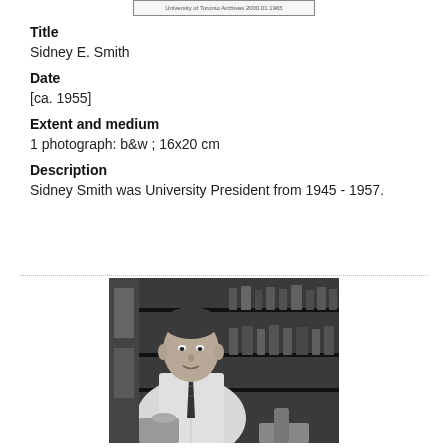University of Toronto Archives 2000.01.1965
Title
Sidney E. Smith
Date
[ca. 1955]
Extent and medium
1 photograph: b&w ; 16x20 cm
Description
Sidney Smith was University President from 1945 - 1957.
[Figure (photo): Black and white photograph of a man in a white lab coat with a tie, standing in front of shelves filled with bottles and laboratory equipment.]